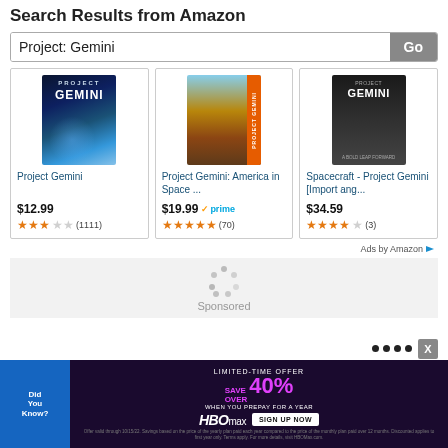Search Results from Amazon
Project: Gemini
[Figure (screenshot): Amazon search result card 1: Project Gemini movie cover with blue space theme]
Project Gemini
$12.99
★★★☆☆ (1111)
[Figure (screenshot): Amazon search result card 2: Project Gemini America in Space documentary cover with rocket and orange banner]
Project Gemini: America in Space ...
$19.99 prime
★★★★★ (70)
[Figure (screenshot): Amazon search result card 3: Spacecraft - Project Gemini Import book cover, dark background]
Spacecraft - Project Gemini [Import ang...
$34.59
★★★★☆ (3)
Ads by Amazon
Sponsored
[Figure (screenshot): HBO Max advertisement banner: LIMITED-TIME OFFER SAVE OVER 40% WHEN YOU PREPAY FOR A YEAR - SIGN UP NOW]